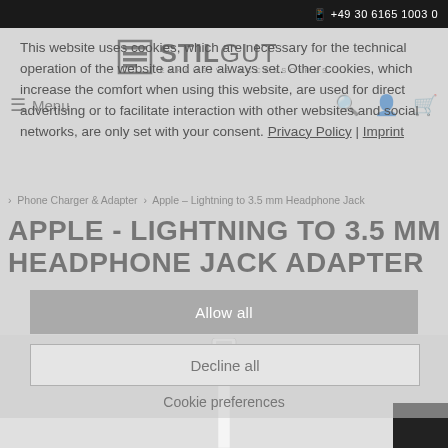+49 30 6165 1003 0
[Figure (logo): StilGut Exklusive Accessoires logo with stylized book/layers icon]
Menu
This website uses cookies, which are necessary for the technical operation of the website and are always set. Other cookies, which increase the comfort when using this website, are used for direct advertising or to facilitate interaction with other websites and social networks, are only set with your consent. Privacy Policy | Imprint
Phone Charger & Adapter › Apple – Lightning to 3.5 mm Headphone Jack
APPLE - LIGHTNING TO 3.5 MM HEADPHONE JACK ADAPTER
Allow all
Decline all
Cookie preferences
[Figure (photo): White Lightning to 3.5mm headphone jack adapter cable partially visible at bottom of page]